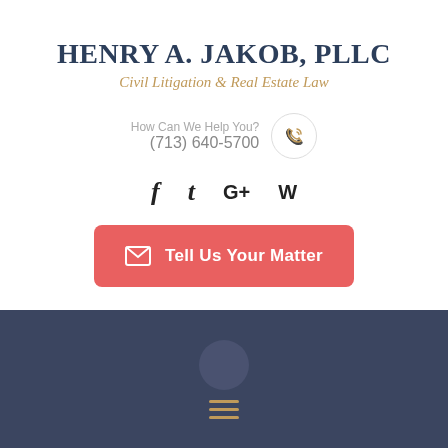HENRY A. JAKOB, PLLC
Civil Litigation & Real Estate Law
How Can We Help You?
(713) 640-5700
[Figure (infographic): Social media icons: Facebook (f), Tumblr (t), Google+ (G+), WordPress (W)]
[Figure (infographic): Red CTA button with envelope icon and text 'Tell Us Your Matter']
[Figure (infographic): Dark navy footer section with a circular icon silhouette and three horizontal hamburger menu lines in gold/amber color]